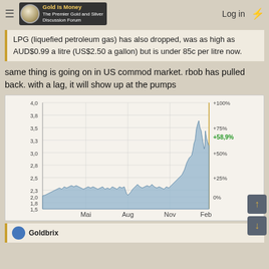Gold Is Money — The Premier Gold and Silver Discussion Forum | Log in
LPG (liquefied petroleum gas) has also dropped, was as high as AUD$0.99 a litre (US$2.50 a gallon) but is under 85c per litre now.
same thing is going on in US commod market. rbob has pulled back. with a lag, it will show up at the pumps
[Figure (area-chart): Area chart showing RBOB gasoline price from Mai through Feb, ranging approximately 1.5 to 4.0, with a sharp spike near Feb reaching ~3.7 then settling around 3.45 (+58.9%). Right axis shows percentage change from +0% to +100%.]